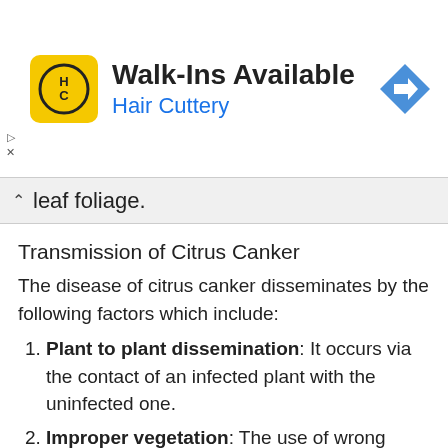[Figure (other): Advertisement banner for Hair Cuttery salon with yellow HC logo, text 'Walk-Ins Available' and 'Hair Cuttery' in blue, and a blue diamond navigation arrow on the right.]
leaf foliage.
Transmission of Citrus Canker
The disease of citrus canker disseminates by the following factors which include:
Plant to plant dissemination: It occurs via the contact of an infected plant with the uninfected one.
Improper vegetation: The use of wrong vegetative methods and improper